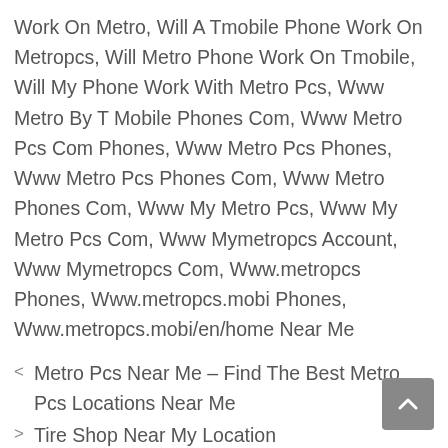Work On Metro, Will A Tmobile Phone Work On Metropcs, Will Metro Phone Work On Tmobile, Will My Phone Work With Metro Pcs, Www Metro By T Mobile Phones Com, Www Metro Pcs Com Phones, Www Metro Pcs Phones, Www Metro Pcs Phones Com, Www Metro Phones Com, Www My Metro Pcs, Www My Metro Pcs Com, Www Mymetropcs Account, Www Mymetropcs Com, Www.metropcs Phones, Www.metropcs.mobi Phones, Www.metropcs.mobi/en/home Near Me
< Metro Pcs Near Me – Find The Best Metro Pcs Locations Near Me
> Tire Shop Near My Location